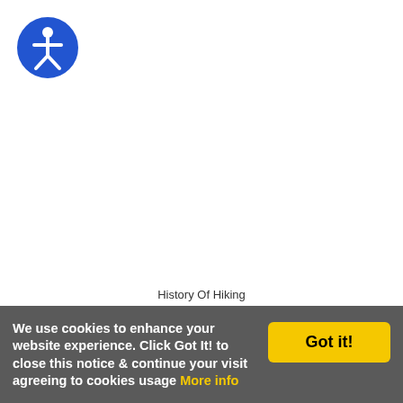[Figure (logo): Accessibility icon — blue circle with white human figure silhouette (wheelchair accessibility symbol)]
History Of Hiking
ABC of Hiking: History
Buzzle: History of Hiking
Boys' Life Magazine: Hiking Through History
News
New York Times: Hiking
Google News: Hiking
We use cookies to enhance your website experience. Click Got It! to close this notice & continue your visit agreeing to cookies usage More info
Got it!